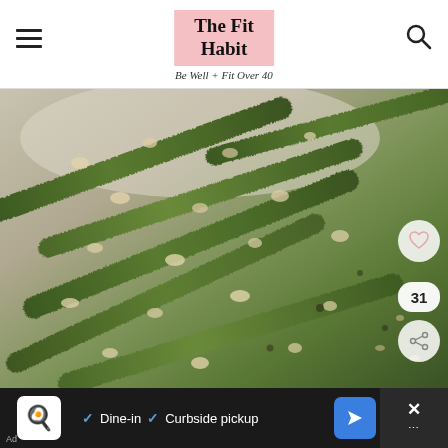The Fit Habit — Be Well + Fit Over 40
[Figure (photo): Close-up photo of roasted green beans covered in parmesan and breadcrumbs on parchment paper, with social sharing buttons (heart/31/share) on the right side]
♥  31  < (share icon)
[Figure (other): Advertisement bar: restaurant icon, Dine-in, Curbside pickup, navigation arrow icon, close X button]